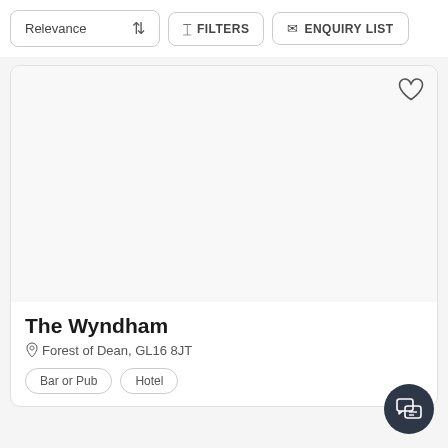Relevance  FILTERS  ENQUIRY LIST
[Figure (screenshot): White card with image area placeholder and heart icon in top right corner]
The Wyndham
Forest of Dean, GL16 8JT
Bar or Pub
Hotel